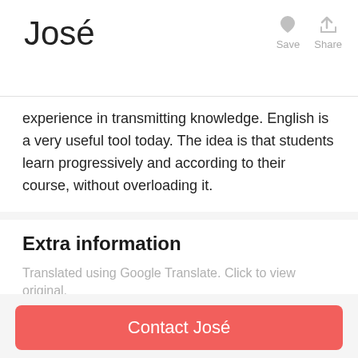José
experience in transmitting knowledge. English is a very useful tool today. The idea is that students learn progressively and according to their course, without overloading it.
Extra information
Translated using Google Translate. Click to view original.
ALWAYS bring the relevant work material (textbooks, pens, pencils, rubber, notebooks ...)
Location
At student's location: Around Madrid, Spain
Contact José